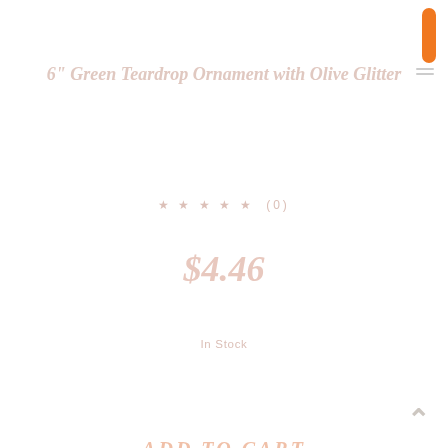6" Green Teardrop Ornament with Olive Glitter
★ ★ ★ ★ ★ (0)
$4.46
In Stock
ADD TO CART
[Figure (photo): A green teardrop/raindrop shaped Christmas ornament with glitter detail, shown hanging with a cap and wire hanger at the top. The ornament is light green and appears faded/washed out in the image.]